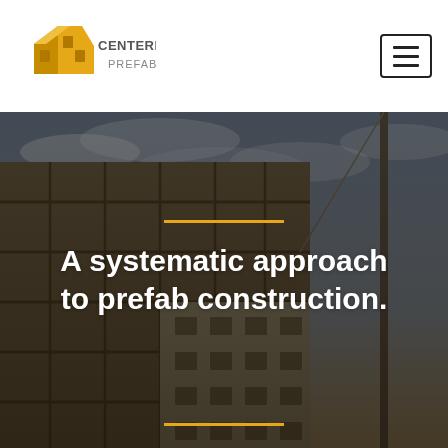[Figure (logo): Centerline Prefab logo: gold geometric building icon with text 'CENTERLINE PREFAB']
[Figure (photo): Aerial/upward photo of a multi-story building under construction with steel frame and prefab panels against a dramatic cloudy sky, with a crane pole visible on the right]
A systematic approach to prefab construction.